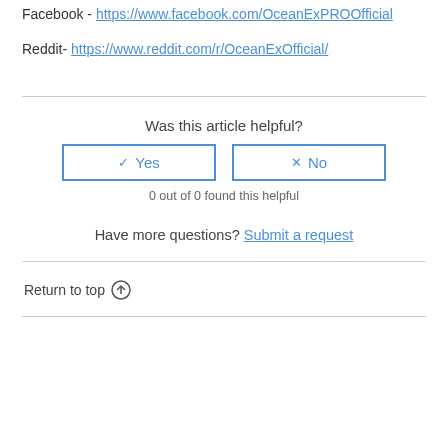Facebook - https://www.facebook.com/OceanExPROOfficial
Reddit- https://www.reddit.com/r/OceanExOfficial/
Was this article helpful?
Yes
No
0 out of 0 found this helpful
Have more questions? Submit a request
Return to top